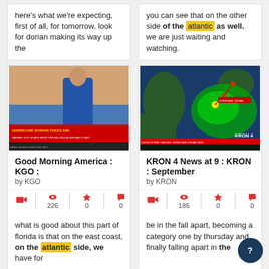here's what we're expecting, first of all, for tomorrow, look for dorian making its way up the
you can see that on the other side of the atlantic as well. we are just waiting and watching.
[Figure (screenshot): TV screenshot showing news reporter on beach with lower-third graphic reading HURRICANE DORIAN TAKES AIM]
Good Morning America : KGO :
by KGO
[Figure (screenshot): KRON StormTracker 4 radar map showing Hurricane Dorian track along the US East Coast]
KRON 4 News at 9 : KRON : September
by KRON
what is good about this part of florida is that on the east coast, on the atlantic side, we have for
be in the fall apart, becoming a category one by thursday and finally falling apart in the
[Figure (screenshot): Partial TV screenshot at bottom left]
[Figure (screenshot): Partial TV screenshot at bottom right showing storm surge warning banner]